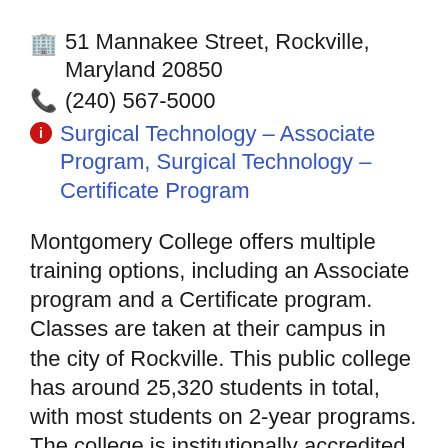51 Mannakee Street, Rockville, Maryland 20850
(240) 567-5000
Surgical Technology – Associate Program, Surgical Technology – Certificate Program
Montgomery College offers multiple training options, including an Associate program and a Certificate program. Classes are taken at their campus in the city of Rockville. This public college has around 25,320 students in total, with most students on 2-year programs. The college is institutionally accredited by the Middle States Commission on Higher Education. The cost of tuition for in-district students is usually in the order of $4,902 and are $9,474 and $12,894 for in-